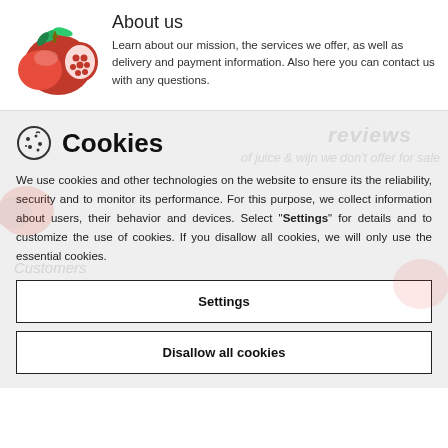[Figure (photo): Pomegranate fruit photo — whole and cut pomegranate with seeds visible, green leaves]
About us
Learn about our mission, the services we offer, as well as delivery and payment information. Also here you can contact us with any questions.
Cookies
We use cookies and other technologies on the website to ensure its the reliability, security and to monitor its performance. For this purpose, we collect information about users, their behavior and devices. Select "Settings" for details and to customize the use of cookies. If you disallow all cookies, we will only use the essential cookies.
Settings
Disallow all cookies